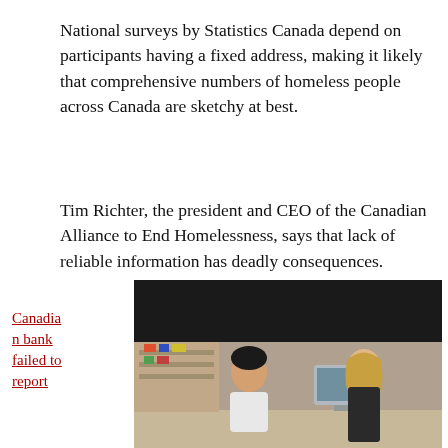National surveys by Statistics Canada depend on participants having a fixed address, making it likely that comprehensive numbers of homeless people across Canada are sketchy at best.
Tim Richter, the president and CEO of the Canadian Alliance to End Homelessness, says that lack of reliable information has deadly consequences.
[Figure (photo): Meme image with bold white text on dark header reading: 'How about instead of saying "Happy Holidays" we say' with a photo of two people at a retail counter below.]
Canadian bank failed to report